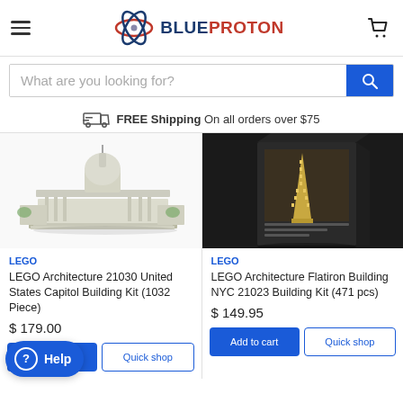BlueProton — navigation header with hamburger menu and cart icon
What are you looking for?
FREE Shipping On all orders over $75
[Figure (photo): LEGO Architecture 21030 United States Capitol Building Kit product image]
LEGO
LEGO Architecture 21030 United States Capitol Building Kit (1032 Piece)
$ 179.00
[Figure (photo): LEGO Architecture Flatiron Building NYC 21023 product image]
LEGO
LEGO Architecture Flatiron Building NYC 21023 Building Kit (471 pcs)
$ 149.95